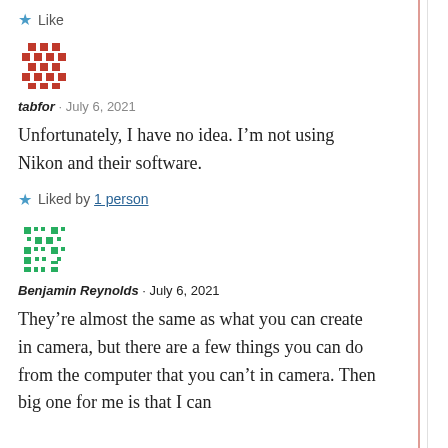Like
[Figure (illustration): Red pixel/mosaic avatar icon for user tabfor]
tabfor · July 6, 2021
Unfortunately, I have no idea. I'm not using Nikon and their software.
Liked by 1 person
[Figure (illustration): Green pixel/mosaic avatar icon for user Benjamin Reynolds]
Benjamin Reynolds · July 6, 2021
They're almost the same as what you can create in camera, but there are a few things you can do from the computer that you can't in camera. Then big one for me is that I can